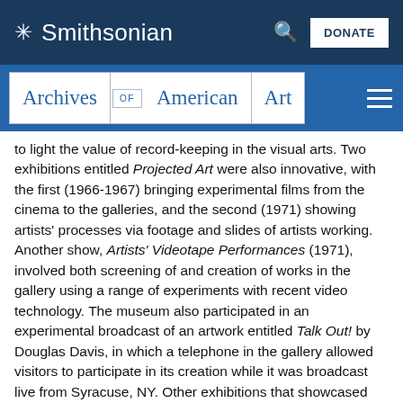Smithsonian — Archives of American Art
to light the value of record-keeping in the visual arts. Two exhibitions entitled Projected Art were also innovative, with the first (1966-1967) bringing experimental films from the cinema to the galleries, and the second (1971) showing artists' processes via footage and slides of artists working. Another show, Artists' Videotape Performances (1971), involved both screening of and creation of works in the gallery using a range of experiments with recent video technology. The museum also participated in an experimental broadcast of an artwork entitled Talk Out! by Douglas Davis, in which a telephone in the gallery allowed visitors to participate in its creation while it was broadcast live from Syracuse, NY. Other exhibitions that showcased experimentation in art included N-Dimensional Space (1970), on holography in art, Destruction Art (1968), on destructive actions being incorporated into